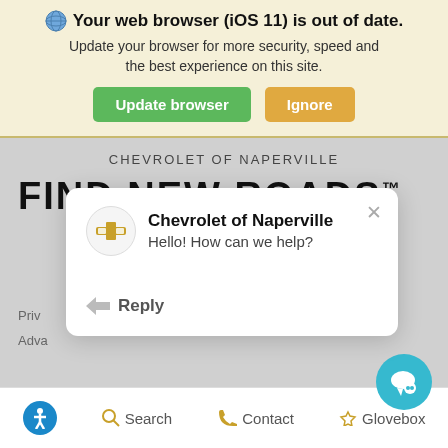[Figure (screenshot): Browser update notification banner with globe icon, bold warning text, and two buttons: green 'Update browser' and orange 'Ignore']
CHEVROLET OF NAPERVILLE
FIND NEW ROADS™
[Figure (screenshot): Chat popup overlay showing Chevrolet of Naperville logo circle, bold dealer name, greeting message 'Hello! How can we help?', and a Reply button with arrow icon. X close button top right.]
[Figure (screenshot): Teal circular chat button at bottom right of page]
[Figure (screenshot): Bottom navigation bar with accessibility icon, Search, Contact, and Glovebox items]